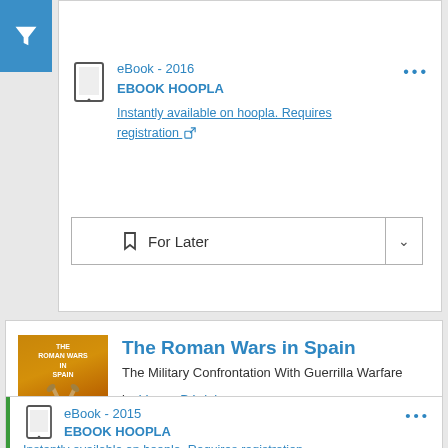[Figure (screenshot): Filter/funnel icon button in blue square]
eBook - 2016
EBOOK HOOPLA
Instantly available on hoopla. Requires registration
For Later
The Roman Wars in Spain
The Military Confrontation With Guerrilla Warfare
by Varga, Dániel
eBook - 2015
EBOOK HOOPLA
Instantly available on hoopla. Requires registration